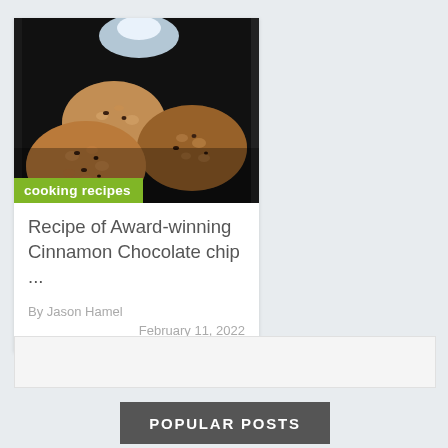[Figure (photo): Photo of oatmeal chocolate chip cookies in a dark container, viewed from above]
cooking recipes
Recipe of Award-winning Cinnamon Chocolate chip ...
By Jason Hamel
February 11, 2022
POPULAR POSTS